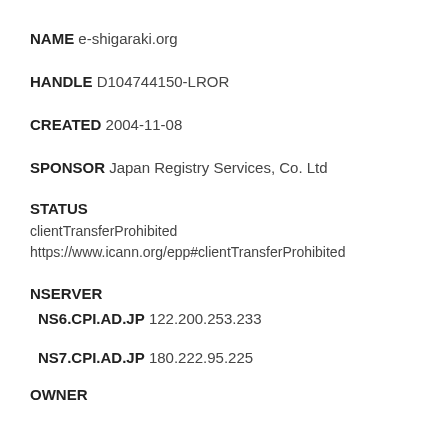NAME e-shigaraki.org
HANDLE D104744150-LROR
CREATED 2004-11-08
SPONSOR Japan Registry Services, Co. Ltd
STATUS
clientTransferProhibited
https://www.icann.org/epp#clientTransferProhibited
NSERVER
NS6.CPI.AD.JP 122.200.253.233
NS7.CPI.AD.JP 180.222.95.225
OWNER